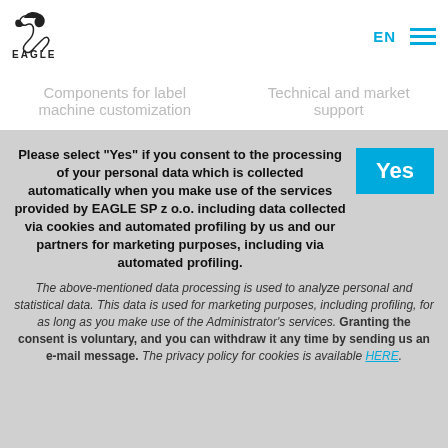EAGLE | EN | menu
Components for label machine customization | Technical and market support
Please select "Yes" if you consent to the processing of your personal data which is collected automatically when you make use of the services provided by EAGLE SP z o.o. including data collected via cookies and automated profiling by us and our partners for marketing purposes, including via automated profiling. The above-mentioned data processing is used to analyze personal and statistical data. This data is used for marketing purposes, including profiling, for as long as you make use of the Administrator's services. Granting the consent is voluntary, and you can withdraw it any time by sending us an e-mail message. The privacy policy for cookies is available HERE.